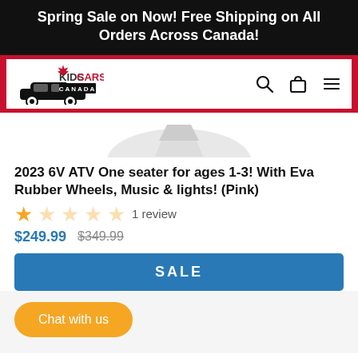Spring Sale on Now! Free Shipping on All Orders Across Canada!
[Figure (logo): Kids Cars Canada logo with maple leaf and car silhouette, navigation bar with search, cart, and menu icons]
[Figure (photo): Partial product image of a pink ATV toy, partially visible at top]
2023 6V ATV One seater for ages 1-3! With Eva Rubber Wheels, Music & lights! (Pink)
1 review
$249.99  $349.99
SALE
Chat with us